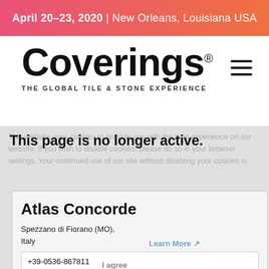April 20-23, 2020 | New Orleans, Louisiana USA
[Figure (logo): Coverings logo with tagline 'THE GLOBAL TILE & STONE EXPERIENCE']
This page is no longer active.
Atlas Concorde
Spezzano di Fiorano (MO), Italy
+39-0536-867811
http://www.atlasconcorde.com